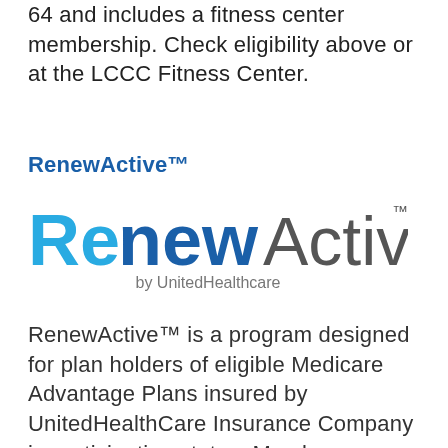64 and includes a fitness center membership. Check eligibility above or at the LCCC Fitness Center.
RenewActive™
[Figure (logo): RenewActive by UnitedHealthcare logo — 'Re' and 'new' in blue large text, 'Active' in gray large text with TM mark, 'by UnitedHealthcare' in smaller gray text below]
RenewActive™ is a program designed for plan holders of eligible Medicare Advantage Plans insured by UnitedHealthCare Insurance Company in participating states. Members can check their eligibility above or at the LCCC Fitness Center.